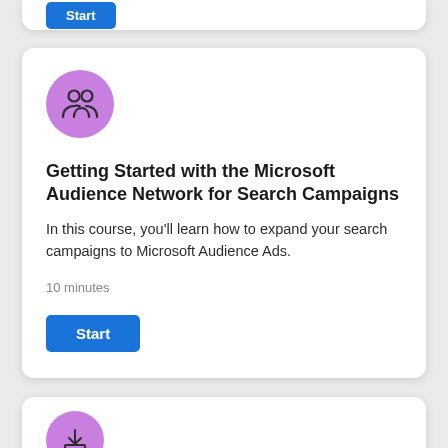[Figure (screenshot): Partial card with blue Start button at top of page]
[Figure (illustration): Purple circle icon with two-person group/audience symbol]
Getting Started with the Microsoft Audience Network for Search Campaigns
In this course, you'll learn how to expand your search campaigns to Microsoft Audience Ads.
10 minutes
[Figure (illustration): Blue 'Start' button]
[Figure (illustration): Partial card bottom with purple circle icon containing download/tray symbol]